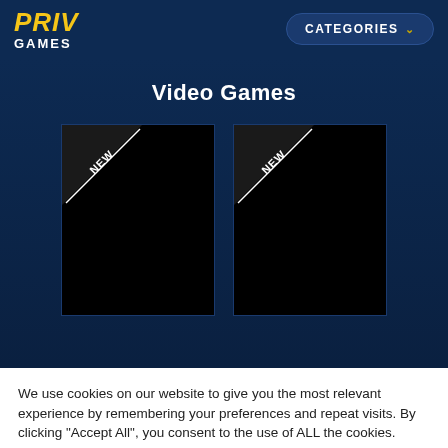PRIV GAMES | CATEGORIES
Video Games
[Figure (screenshot): Two video game card thumbnails with black backgrounds and 'NEW' diagonal badge banners in the top-left corners]
We use cookies on our website to give you the most relevant experience by remembering your preferences and repeat visits. By clicking "Accept All", you consent to the use of ALL the cookies. However, you may visit "Cookie Settings" to provide a controlled consent. Read more
Cookie Settings
Accept All